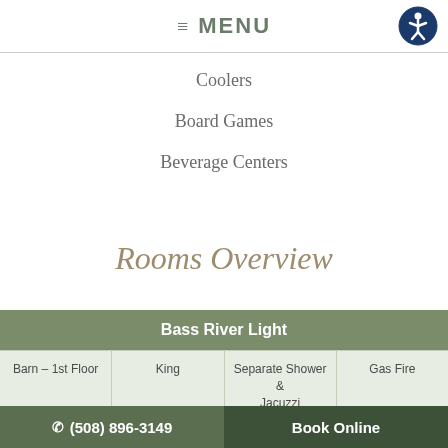☰ MENU
Coolers
Board Games
Beverage Centers
Rooms Overview
| Bass River Light |  |  |  |
| --- | --- | --- | --- |
| Barn – 1st Floor | King | Separate Shower & Jacuzzi | Gas Fire |
Nobska Point Light
✆ (508) 896-3149    Book Online